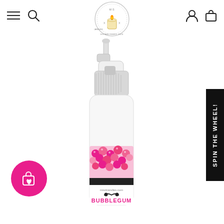E-commerce website navigation bar with hamburger menu, search icon, brand logo (candle illustration, 'CANDLES ESTABLISHED 2020'), account icon, and shopping bag icon
[Figure (photo): A spray bottle product with a pink bubblegum-themed label showing pink bubble gum balls graphic and the text 'BUBBLEGUM' in bright pink letters, with a mustache logo and website URL on the label]
[Figure (other): SPIN THE WHEEL! vertical black button on the right side of the page]
[Figure (other): Pink circular floating wishlist/cart button with shopping bag and heart icon in the lower left]